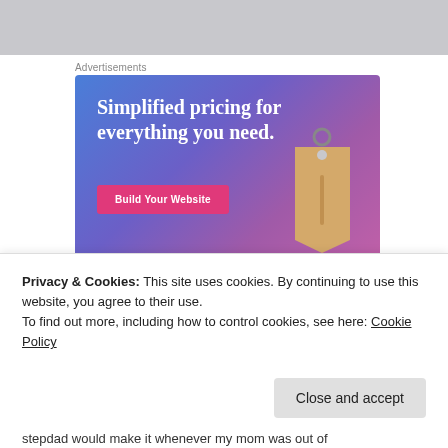[Figure (other): Partial gray image bar at top of page, cropped]
Advertisements
[Figure (illustration): Advertisement banner with gradient blue-purple background. Large white serif text reads 'Simplified pricing for everything you need.' A pink 'Build Your Website' button on the left and a 3D price tag graphic on the right.]
Privacy & Cookies: This site uses cookies. By continuing to use this website, you agree to their use.
To find out more, including how to control cookies, see here: Cookie Policy
stepdad would make it whenever my mom was out of